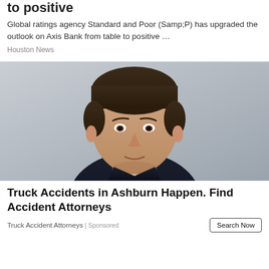to positive
Global ratings agency Standard and Poor (Samp;P) has upgraded the outlook on Axis Bank from table to positive …
Houston News
[Figure (photo): Professional headshot of a middle-aged man with short dark hair, wearing a dark suit jacket and white shirt, smiling slightly against a gray background.]
Truck Accidents in Ashburn Happen. Find Accident Attorneys
Truck Accident Attorneys | Sponsored
Search Now